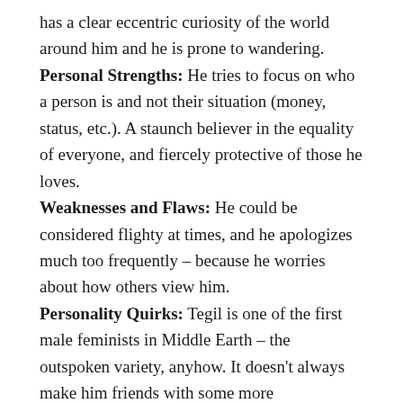has a clear eccentric curiosity of the world around him and he is prone to wandering.
Personal Strengths: He tries to focus on who a person is and not their situation (money, status, etc.). A staunch believer in the equality of everyone, and fiercely protective of those he loves.
Weaknesses and Flaws: He could be considered flighty at times, and he apologizes much too frequently – because he worries about how others view him.
Personality Quirks: Tegil is one of the first male feminists in Middle Earth – the outspoken variety, anyhow. It doesn't always make him friends with some more traditionally-minded folks. He's also discreetly meticulous about what he cooks and eats.
Aspirations/Motivation: He would like to finish his epic poem, untitled as of now and based on the